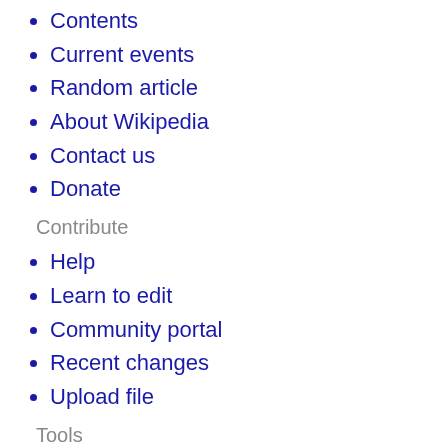Contents
Current events
Random article
About Wikipedia
Contact us
Donate
Contribute
Help
Learn to edit
Community portal
Recent changes
Upload file
Tools
What links here
Related changes
Upload file
Special pages
Permanent link